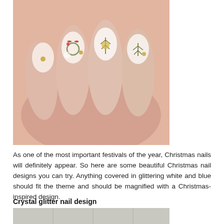[Figure (photo): Close-up photo of hands with Christmas-themed nail art including snowflakes, wreaths, branches, gold studs on pale pink and white nails]
As one of the most important festivals of the year, Christmas nails will definitely appear. So here are some beautiful Christmas nail designs you can try. Anything covered in glittering white and blue should fit the theme and should be magnified with a Christmas-inspired design.
Crystal glitter nail design
[Figure (photo): Photo of crystal glitter nails in silver and neon yellow/green on a tiled surface, partially obscured by a purple shopping cart icon overlay and a USD currency selector widget]